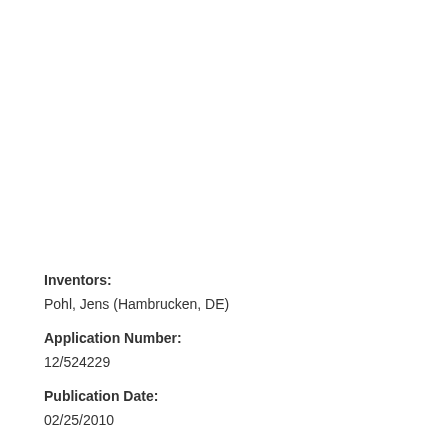Inventors:
Pohl, Jens (Hambrucken, DE)
Application Number:
12/524229
Publication Date:
02/25/2010